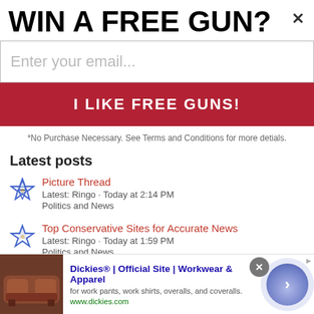WIN A FREE GUN?
Enter your email...
I LIKE FREE GUNS!
*No Purchase Necessary. See Terms and Conditions for more detials.
Latest posts
Picture Thread
Latest: Ringo · Today at 2:14 PM
Politics and News
Top Conservative Sites for Accurate News
Latest: Ringo · Today at 1:59 PM
Politics and News
R.i.p. Glenn frey
[Figure (infographic): Advertisement banner for Dickies Official Site - Workwear and Apparel, showing a leather couch image, ad text, URL www.dickies.com, a close button, and a blue arrow button]